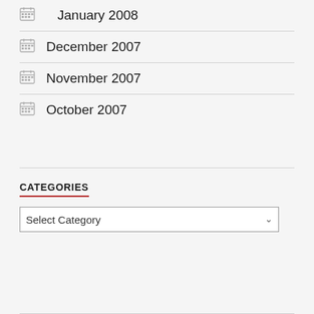January 2008
December 2007
November 2007
October 2007
CATEGORIES
Select Category